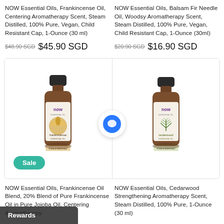NOW Essential Oils, Frankincense Oil, Centering Aromatherapy Scent, Steam Distilled, 100% Pure, Vegan, Child Resistant Cap, 1-Ounce (30 ml)
$48.90 SGD  $45.90 SGD
NOW Essential Oils, Balsam Fir Needle Oil, Woodsy Aromatherapy Scent, Steam Distilled, 100% Pure, Vegan, Child Resistant Cap, 1-Ounce (30ml)
$20.90 SGD  $16.90 SGD
[Figure (photo): NOW Essential Oils Frankincense bottle with gold botanical illustration]
[Figure (photo): NOW Essential Oils Cedarwood bottle with green botanical illustration]
Sale
NOW Essential Oils, Frankincense Oil Blend, 20% Blend of Pure Frankincense Oil in Pure Jojoba Oil, Centering Aromatherapy
NOW Essential Oils, Cedarwood Strengthening Aromatherapy Scent, Steam Distilled, 100% Pure, 1-Ounce (30 ml)
Rewards